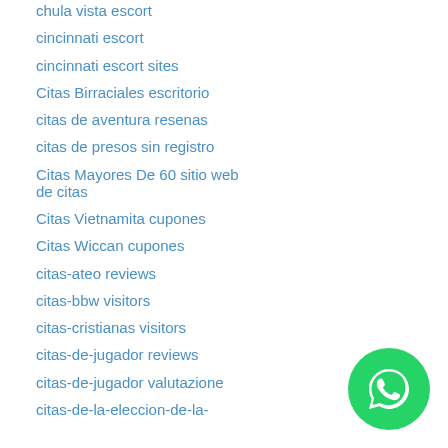chula vista escort
cincinnati escort
cincinnati escort sites
Citas Birraciales escritorio
citas de aventura resenas
citas de presos sin registro
Citas Mayores De 60 sitio web de citas
Citas Vietnamita cupones
Citas Wiccan cupones
citas-ateo reviews
citas-bbw visitors
citas-cristianas visitors
citas-de-jugador reviews
citas-de-jugador valutazione
citas-de-la-eleccion-de-la-
[Figure (logo): WhatsApp green circular button with phone handset icon]